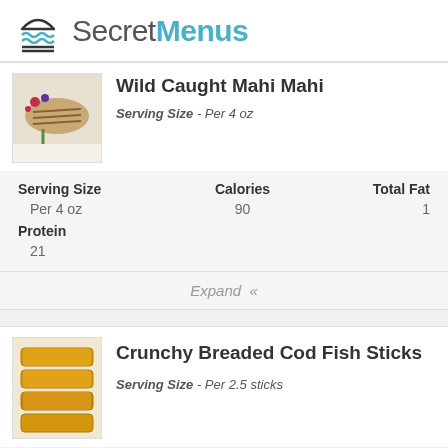SecretMenus
Wild Caught Mahi Mahi
Serving Size - Per 4 oz
| Serving Size | Calories | Total Fat |
| --- | --- | --- |
| Per 4 oz | 90 | 1 |
Expand «
Crunchy Breaded Cod Fish Sticks
Serving Size - Per 2.5 sticks